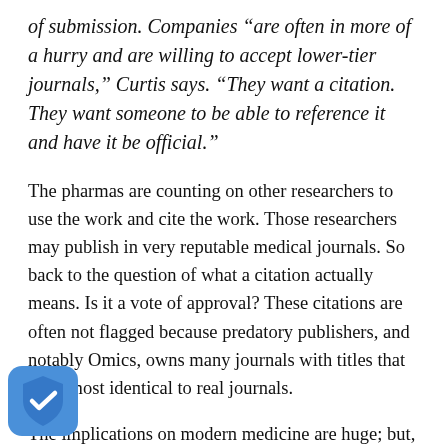of submission. Companies “are often in more of a hurry and are willing to accept lower-tier journals,” Curtis says. “They want a citation. They want someone to be able to reference it and have it be official.”
The pharmas are counting on other researchers to use the work and cite the work. Those researchers may publish in very reputable medical journals. So back to the question of what a citation actually means. Is it a vote of approval? These citations are often not flagged because predatory publishers, and notably Omics, owns many journals with titles that are almost identical to real journals.
The implications on modern medicine are huge; but, we are seeing this on a smaller scale as well.
...archers that are living off citation metrics — untenured or